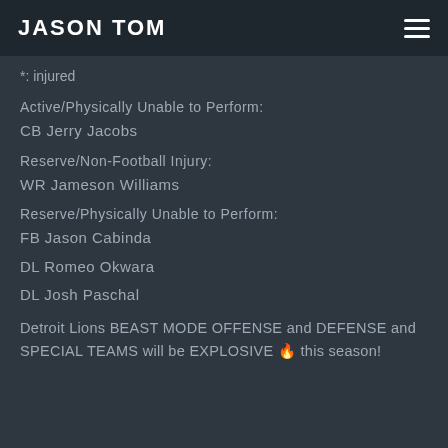JASON TOM
*: injured
Active/Physically Unable to Perform:
CB Jerry Jacobs
Reserve/Non-Football Injury:
WR Jameson Williams
Reserve/Physically Unable to Perform:
FB Jason Cabinda
DL Romeo Okwara
DL Josh Paschal
Detroit Lions BEAST MODE OFFENSE and DEFENSE and SPECIAL TEAMS will be EXPLOSIVE 🔥 this season!